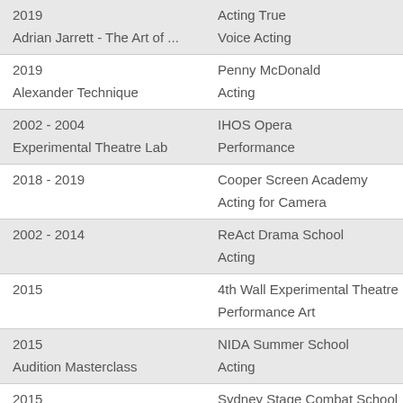| Year/Course | Institution/Subject |
| --- | --- |
| 2019 | Acting True |
| Adrian Jarrett - The Art of ... | Voice Acting |
| 2019 | Penny McDonald |
| Alexander Technique | Acting |
| 2002 - 2004 | IHOS Opera |
| Experimental Theatre Lab | Performance |
| 2018 - 2019 | Cooper Screen Academy |
|  | Acting for Camera |
| 2002 - 2014 | ReAct Drama School |
|  | Acting |
| 2015 | 4th Wall Experimental Theatre Lab |
|  | Performance Art |
| 2015 | NIDA Summer School |
| Audition Masterclass | Acting |
| 2015 | Sydney Stage Combat School |
| Basic Stage Combat Certifi... | Stage Combat |